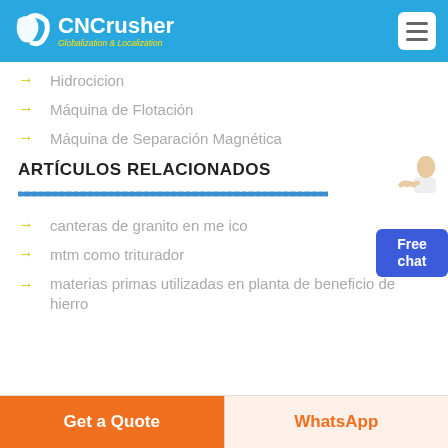CNCrusher Globalization & Localization
Hidrocicion
Máquina de Flotación
Máquina de Separación Magnética
ARTÍCULOS RELACIONADOS
canteras de granito en me ico
mtm como triturador
materias primas utilizadas en planta de beneficio de hierro
Get a Quote | WhatsApp